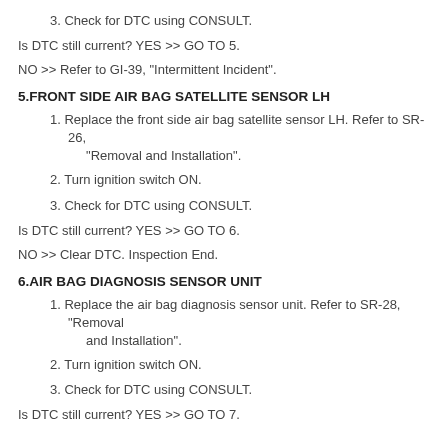3. Check for DTC using CONSULT.
Is DTC still current? YES >> GO TO 5.
NO >> Refer to GI-39, "Intermittent Incident".
5.FRONT SIDE AIR BAG SATELLITE SENSOR LH
1. Replace the front side air bag satellite sensor LH. Refer to SR-26, "Removal and Installation".
2. Turn ignition switch ON.
3. Check for DTC using CONSULT.
Is DTC still current? YES >> GO TO 6.
NO >> Clear DTC. Inspection End.
6.AIR BAG DIAGNOSIS SENSOR UNIT
1. Replace the air bag diagnosis sensor unit. Refer to SR-28, "Removal and Installation".
2. Turn ignition switch ON.
3. Check for DTC using CONSULT.
Is DTC still current? YES >> GO TO 7.